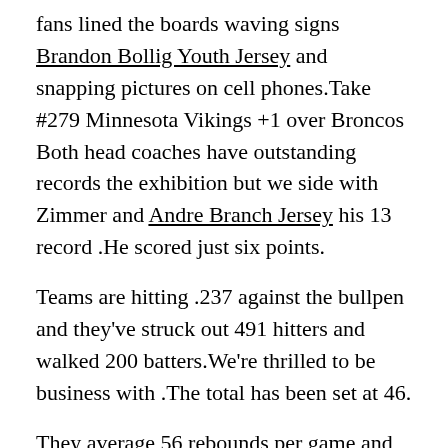fans lined the boards waving signs Brandon Bollig Youth Jersey and snapping pictures on cell phones.Take #279 Minnesota Vikings +1 over Broncos Both head coaches have outstanding records the exhibition but we side with Zimmer and Andre Branch Jersey his 13 record .He scored just six points.
Teams are hitting .237 against the bullpen and they've struck out 491 hitters and walked 200 batters.We're thrilled to be business with .The total has been set at 46.
They average 56 rebounds per game and 22 assists per contest which ranks them 2nd and 11th respectively.They score 1 runs per game and have totaled 19 runs far this .12 2017 by RotoWire Staff | RotoWire Canucks' Chaput: Promoted to big club.He has made 920 saves for a save percentage of 93%.